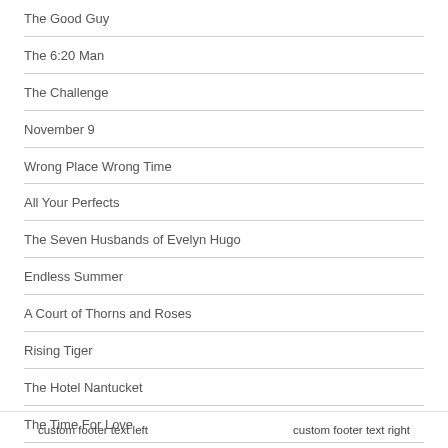The Good Guy
The 6:20 Man
The Challenge
November 9
Wrong Place Wrong Time
All Your Perfects
The Seven Husbands of Evelyn Hugo
Endless Summer
A Court of Thorns and Roses
Rising Tiger
The Hotel Nantucket
The Time For Love
Just One Kiss
custom footer text left    custom footer text right